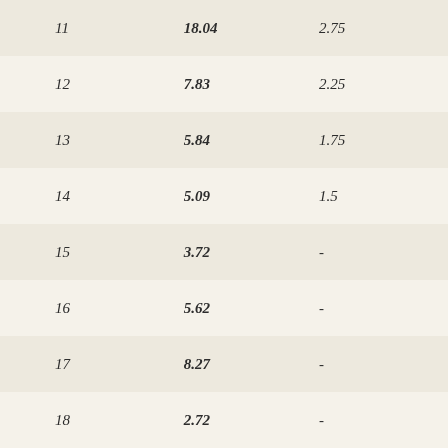| 11 | 18.04 | 2.75 |
| 12 | 7.83 | 2.25 |
| 13 | 5.84 | 1.75 |
| 14 | 5.09 | 1.5 |
| 15 | 3.72 | - |
| 16 | 5.62 | - |
| 17 | 8.27 | - |
| 18 | 2.72 | - |